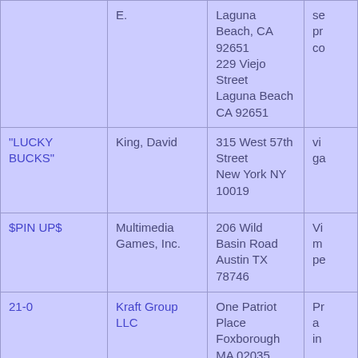| Title | Applicant | Address | Notes |
| --- | --- | --- | --- |
|  | E. | Laguna Beach, CA 92651
229 Viejo Street
Laguna Beach CA 92651 | se... pr... co... |
| "LUCKY BUCKS" | King, David | 315 West 57th Street
New York NY 10019 | vi... ga... |
| $PIN UP$ | Multimedia Games, Inc. | 206 Wild Basin Road
Austin TX 78746 | Vi... m... pe... |
| 21-0 | Kraft Group LLC | One Patriot Place
Foxborough MA 02035 | Pr... a... in... |
| 21-0 THE PERFECT SEASON | Kraft Group LLC | One Patriot Place
Foxborough MA 02035 | Pr... a... in... |